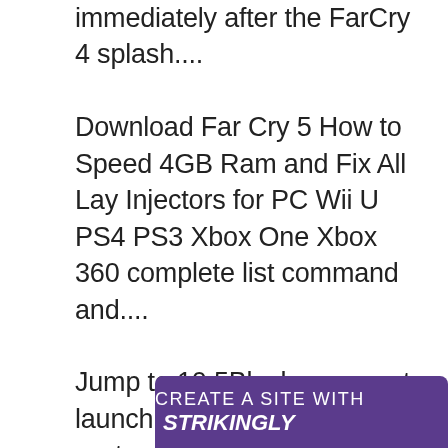immediately after the FarCry 4 splash.... Download Far Cry 5 How to Speed 4GB Ram and Fix All Lay Injectors for PC Wii U PS4 PS3 Xbox One Xbox 360 complete list command and.... Jump to 10.5Black screen at launch on dual core CPU systems - Black screen at launch on dual core CPU systems Link[edit]. This fix requires usage of third party exe and ... fix. First off, download the required files down below. ... it should automatically start Far Cry 4 and ... of the batch file and save it to your desktop.. Far Cry 4 BlackScreen Fix (DOWNLOAD). Cara Mengatasi BlackScreen di Far Cry 4 : Ekstract File yang anda dow ows Far C
[Figure (screenshot): Purple banner overlay at bottom reading CREATE A SITE WITH strikingly]